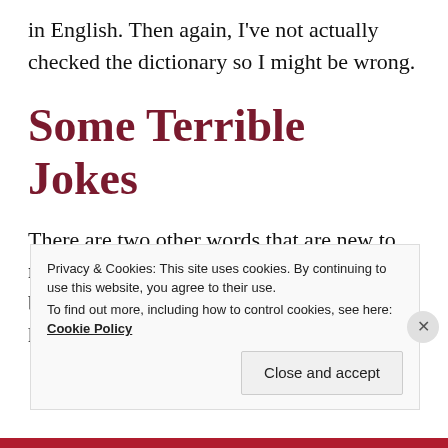in English. Then again, I've not actually checked the dictionary so I might be wrong.
Some Terrible Jokes
There are two other words that are new to me that I particularly like because they have been the basis of two hilarious puns that I have added to my
Privacy & Cookies: This site uses cookies. By continuing to use this website, you agree to their use.
To find out more, including how to control cookies, see here: Cookie Policy
Close and accept